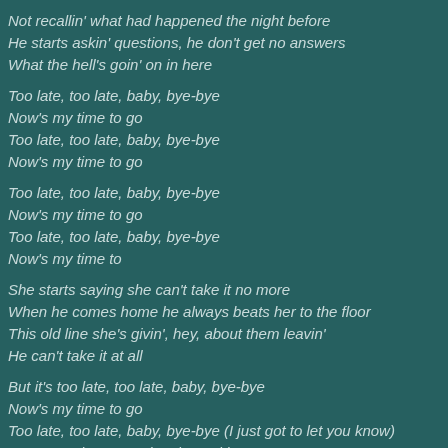Not recallin' what had happened the night before
He starts askin' questions, he don't get no answers
What the hell's goin' on in here
Too late, too late, baby, bye-bye
Now's my time to go
Too late, too late, baby, bye-bye
Now's my time to go
Too late, too late, baby, bye-bye
Now's my time to go
Too late, too late, baby, bye-bye
Now's my time to
She starts saying she can't take it no more
When he comes home he always beats her to the floor
This old line she's givin', hey, about them leavin'
He can't take it at all
But it's too late, too late, baby, bye-bye
Now's my time to go
Too late, too late, baby, bye-bye (I just got to let you know)
Now's my time to go (Yeah, yeah)
Too late, too late, baby, bye-bye
Now's my time to go